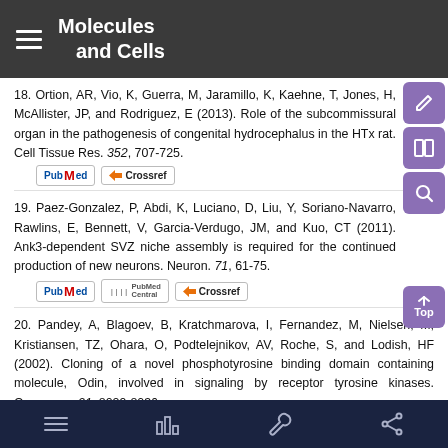Molecules and Cells
18. Ortion, AR, Vio, K, Guerra, M, Jaramillo, K, Kaehne, T, Jones, H, McAllister, JP, and Rodriguez, E (2013). Role of the subcommissural organ in the pathogenesis of congenital hydrocephalus in the HTx rat. Cell Tissue Res. 352, 707-725.
19. Paez-Gonzalez, P, Abdi, K, Luciano, D, Liu, Y, Soriano-Navarro, Rawlins, E, Bennett, V, Garcia-Verdugo, JM, and Kuo, CT (2011). Ank3-dependent SVZ niche assembly is required for the continued production of new neurons. Neuron. 71, 61-75.
20. Pandey, A, Blagoev, B, Kratchmarova, I, Fernandez, M, Nielsen, M, Kristiansen, TZ, Ohara, O, Podtelejnikov, AV, Roche, S, and Lodish, HF (2002). Cloning of a novel phosphotyrosine binding domain containing molecule, Odin, involved in signaling by receptor tyrosine kinases. Oncogene. 21, 8029-8036.